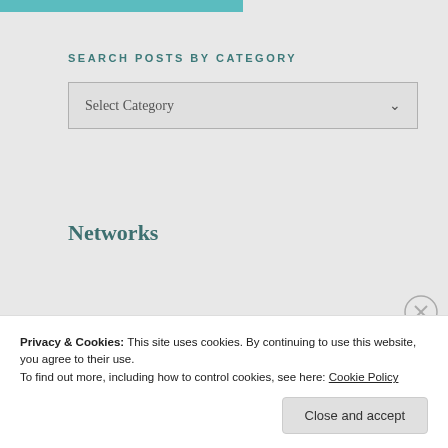[Figure (other): Teal/turquoise colored bar at top of page]
SEARCH POSTS BY CATEGORY
Select Category
Networks
INFLUENSTER
Privacy & Cookies: This site uses cookies. By continuing to use this website, you agree to their use.
To find out more, including how to control cookies, see here: Cookie Policy
Close and accept